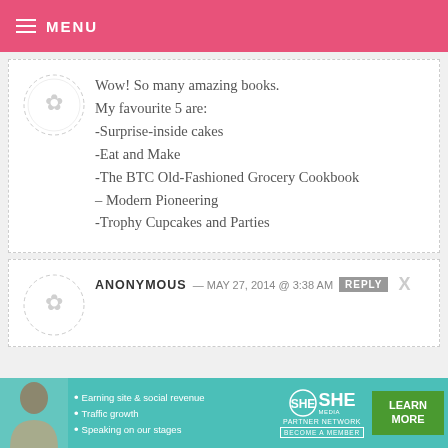MENU
Wow! So many amazing books. My favourite 5 are:
-Surprise-inside cakes
-Eat and Make
-The BTC Old-Fashioned Grocery Cookbook
– Modern Pioneering
-Trophy Cupcakes and Parties
ANONYMOUS — MAY 27, 2014 @ 3:38 AM
[Figure (infographic): SHE Partner Network advertisement banner with photo of woman, bullet points about earning site & social revenue, traffic growth, speaking on our stages, SHE logo, and LEARN MORE button]